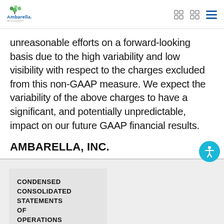Ambarella – AI envisioned
unreasonable efforts on a forward-looking basis due to the high variability and low visibility with respect to the charges excluded from this non-GAAP measure. We expect the variability of the above charges to have a significant, and potentially unpredictable, impact on our future GAAP financial results.
AMBARELLA, INC.
| CONDENSED CONSOLIDATED STATEMENTS OF OPERATIONS |
| --- |